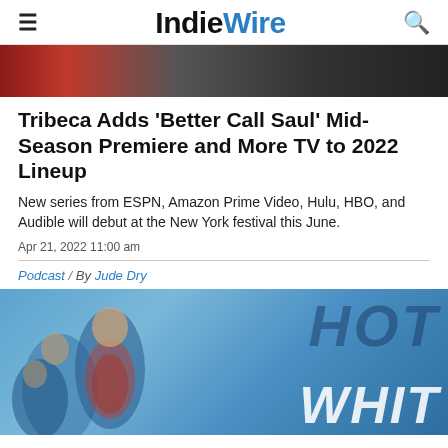IndieWire
[Figure (photo): Partial top of an article hero image, dark tones with red signage visible]
Tribeca Adds ‘Better Call Saul’ Mid-Season Premiere and More TV to 2022 Lineup
New series from ESPN, Amazon Prime Video, Hulu, HBO, and Audible will debut at the New York festival this June.
Apr 21, 2022 11:00 am
Podcast  /  By Jude Dry
[Figure (photo): Promotional image for a TV show featuring women in athletic/boxing attire against a blue background with large text reading HOT WHIT...]